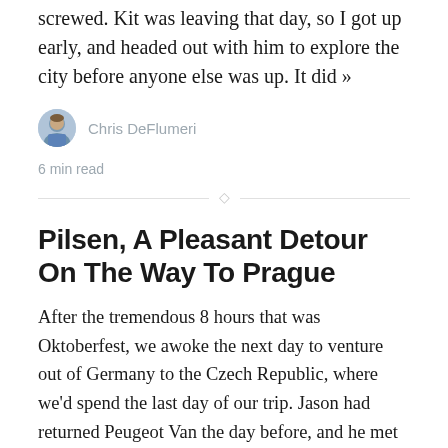screwed. Kit was leaving that day, so I got up early, and headed out with him to explore the city before anyone else was up. It did »
Chris DeFlumeri
6 min read
Pilsen, A Pleasant Detour On The Way To Prague
After the tremendous 8 hours that was Oktoberfest, we awoke the next day to venture out of Germany to the Czech Republic, where we'd spend the last day of our trip. Jason had returned Peugeot Van the day before, and he met us at the Airbnb in our new Mercedes-Benz van. Was it better than the old, crappy van? Well, the engine and suspension almost certainly were, but the interior was… somehow worse. Kit, who was riding in the front seat, in